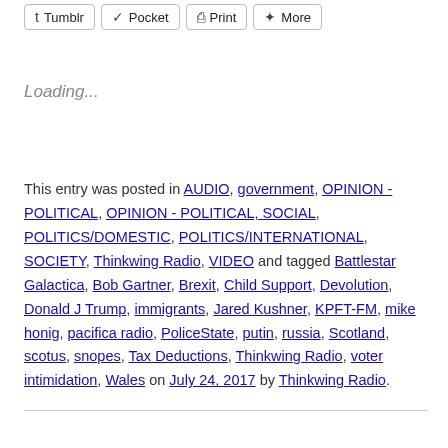Tumblr  Pocket  Print  More (share buttons)
Loading...
This entry was posted in AUDIO, government, OPINION - POLITICAL, OPINION - POLITICAL, SOCIAL, POLITICS/DOMESTIC, POLITICS/INTERNATIONAL, SOCIETY, Thinkwing Radio, VIDEO and tagged Battlestar Galactica, Bob Gartner, Brexit, Child Support, Devolution, Donald J Trump, immigrants, Jared Kushner, KPFT-FM, mike honig, pacifica radio, PoliceState, putin, russia, Scotland, scotus, snopes, Tax Deductions, Thinkwing Radio, voter intimidation, Wales on July 24, 2017 by Thinkwing Radio.